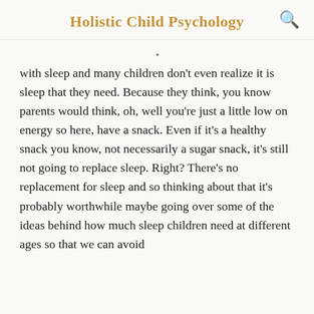Holistic Child Psychology
with sleep and many children don't even realize it is sleep that they need. Because they think, you know parents would think, oh, well you're just a little low on energy so here, have a snack. Even if it's a healthy snack you know, not necessarily a sugar snack, it's still not going to replace sleep. Right? There's no replacement for sleep and so thinking about that it's probably worthwhile maybe going over some of the ideas behind how much sleep children need at different ages so that we can avoid